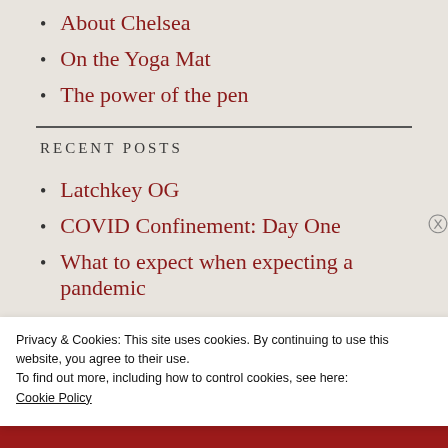About Chelsea
On the Yoga Mat
The power of the pen
RECENT POSTS
Latchkey OG
COVID Confinement: Day One
What to expect when expecting a pandemic
Privacy & Cookies: This site uses cookies. By continuing to use this website, you agree to their use.
To find out more, including how to control cookies, see here: Cookie Policy
Close and accept